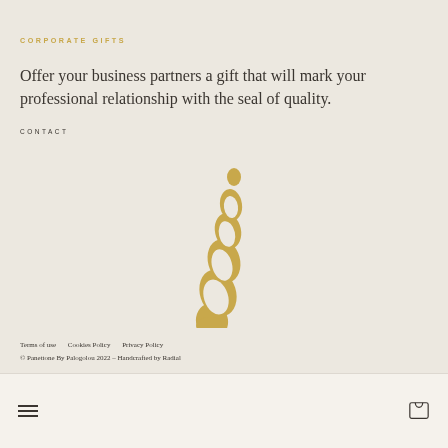CORPORATE GIFTS
Offer your business partners a gift that will mark your professional relationship with the seal of quality.
CONTACT
[Figure (logo): Golden peacock feather / decorative swirl logo mark for Panettone By Palogolou]
Terms of use   Cookies Policy   Privacy Policy
© Panettone By Palogolou 2022 – Handcrafted by Radial